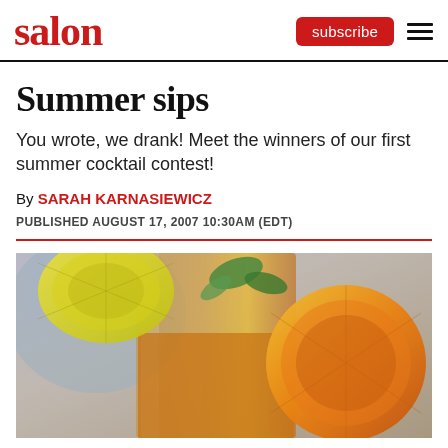salon
Summer sips
You wrote, we drank! Meet the winners of our first summer cocktail contest!
By SARAH KARNASIEWICZ
PUBLISHED AUGUST 17, 2007 10:30AM (EDT)
[Figure (photo): Close-up photo of a cocktail glass with citrus slices (lemon and orange) and ice, with a warm amber/orange color]